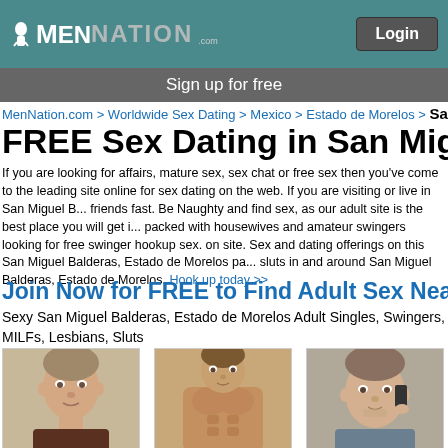MenNation logo and Login button
Sign up for free
MenNation.com > Worldwide Sex Dating > Mexico > Estado de Morelos > San M...
FREE Sex Dating in San Migue...
If you are looking for affairs, mature sex, sex chat or free sex then you've come to the leading site online for sex dating on the web. If you are visiting or live in San Miguel B... friends fast. Be Naughty and find sex, as our adult site is the best place you will get i... packed with housewives and amateur swingers looking for free swinger hookup sex. on site. Sex and dating offerings on this San Miguel Balderas, Estado de Morelos pa... sluts in and around San Miguel Balderas, Estado de Morelos. Hook up today >>
Join Now for FREE to Find Adult Sex Near Sa...
Sexy San Miguel Balderas, Estado de Morelos Adult Singles, Swingers, MILFs, Lesbians, Sluts
[Figure (photo): Profile photo of bristol9864]
bristol9864
[Figure (photo): Profile photo of steve1601954]
steve1601954
[Figure (photo): Profile photo of sugardaddy2258]
sugardaddy2258